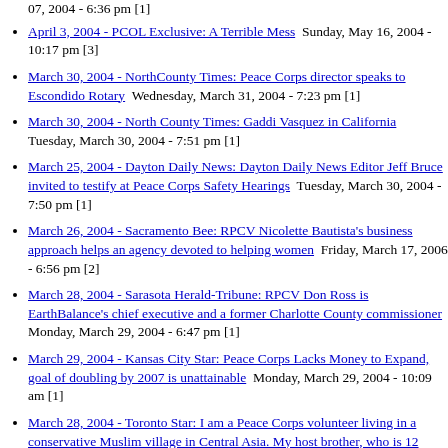07, 2004 - 6:36 pm [1]
April 3, 2004 - PCOL Exclusive: A Terrible Mess  Sunday, May 16, 2004 - 10:17 pm [3]
March 30, 2004 - NorthCounty Times: Peace Corps director speaks to Escondido Rotary  Wednesday, March 31, 2004 - 7:23 pm [1]
March 30, 2004 - North County Times: Gaddi Vasquez in California  Tuesday, March 30, 2004 - 7:51 pm [1]
March 25, 2004 - Dayton Daily News: Dayton Daily News Editor Jeff Bruce invited to testify at Peace Corps Safety Hearings  Tuesday, March 30, 2004 - 7:50 pm [1]
March 26, 2004 - Sacramento Bee: RPCV Nicolette Bautista's business approach helps an agency devoted to helping women  Friday, March 17, 2006 - 6:56 pm [2]
March 28, 2004 - Sarasota Herald-Tribune: RPCV Don Ross is EarthBalance's chief executive and a former Charlotte County commissioner  Monday, March 29, 2004 - 6:47 pm [1]
March 29, 2004 - Kansas City Star: Peace Corps Lacks Money to Expand, goal of doubling by 2007 is unattainable  Monday, March 29, 2004 - 10:09 am [1]
March 28, 2004 - Toronto Star: I am a Peace Corps volunteer living in a conservative Muslim village in Central Asia. My host brother, who is 12 years old, often hits his younger sister and female cousins. According to the boy's grandmother, this is acceptable